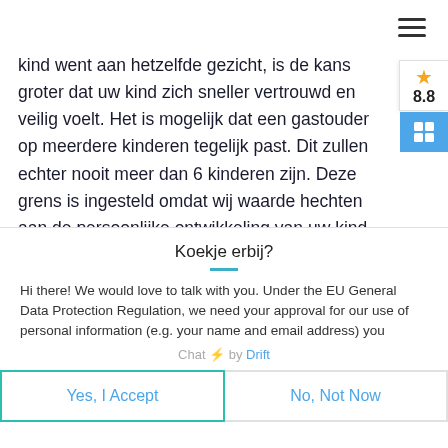[Figure (other): Hamburger menu icon (three horizontal lines) in top right corner]
[Figure (other): Star rating badge showing gold star and score 8.8, with blue icon below]
kind went aan hetzelfde gezicht, is de kans groter dat uw kind zich sneller vertrouwd en veilig voelt. Het is mogelijk dat een gastouder op meerdere kinderen tegelijk past. Dit zullen echter nooit meer dan 6 kinderen zijn. Deze grens is ingesteld omdat wij waarde hechten aan de persoonlijke ontwikkeling van uw kind. Uw kind zal daarom altijd de juiste hoeveelheid aandacht krijgen.
Koekje erbij?
Hi there! We would love to talk with you. Under the EU General Data Protection Regulation, we need your approval for our use of personal information (e.g. your name and email address) you
Chat ⚡ by Drift
Yes, I Accept
No, Not Now